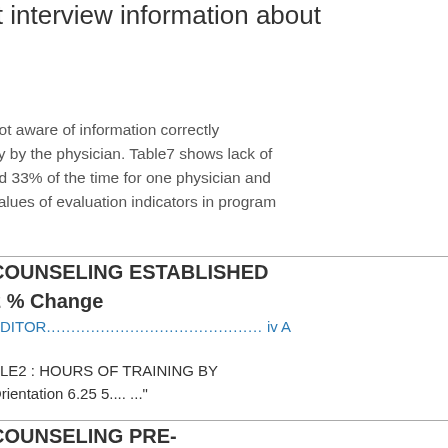it interview information about
not aware of information correctly
tly by the physician. Table7 shows lack of
ed 33% of the time for one physician and
values of evaluation indicators in program
COUNSELING ESTABLISHED
2 % Change
EDITOR................................................ iv A
BLE2 : HOURS OF TRAINING BY
Orientation 6.25 5.... ..."
COUNSELING PRE-
2 % Change
EDITOR................................................ iv A